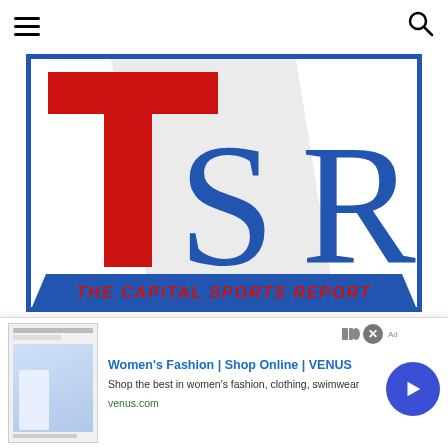Navigation bar with hamburger menu and search icon
[Figure (logo): The Capital Sports Report logo — TSR letters in blue and red on white background with blue border, tagline 'THE CAPITAL SPORTS REPORT' in red italic text]
Social media icons: Facebook, Instagram, Twitter, YouTube
Search for
[Figure (infographic): Advertisement banner: Women's Fashion | Shop Online | VENUS. Shop the best in women's fashion, clothing, swimwear. venus.com]